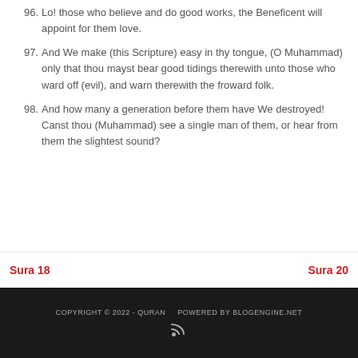96. Lo! those who believe and do good works, the Beneficent will appoint for them love.
97. And We make (this Scripture) easy in thy tongue, (O Muhammad) only that thou mayst bear good tidings therewith unto those who ward off (evil), and warn therewith the froward folk.
98. And how many a generation before them have We destroyed! Canst thou (Muhammad) see a single man of them, or hear from them the slightest sound?
Sura 18   Sura 20   COPYRIGHT © 2022 - QURAN   POWERED BY BLOGENGINE.NET